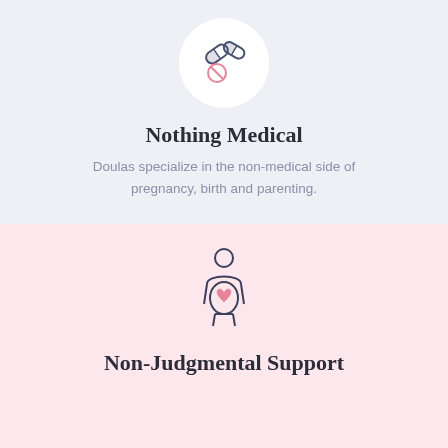[Figure (illustration): Pills/medication icon with a circle background — two capsules and a tablet crossed out in pink, drawn in outline style with slate blue and pink colors]
Nothing Medical
Doulas specialize in the non-medical side of pregnancy, birth and parenting.
[Figure (illustration): Pregnant woman silhouette icon drawn in outline style with slate blue lines, belly features a pink heart symbol]
Non-Judgmental Support